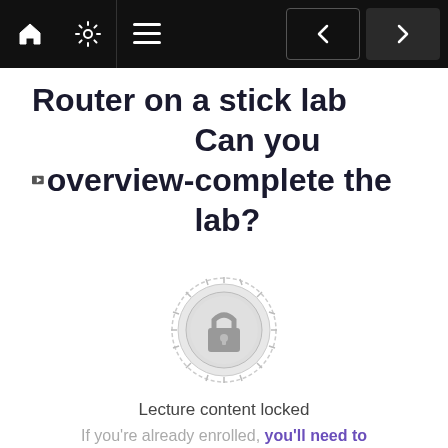Navigation bar with home, settings, menu icons and prev/next buttons
Router on a stick lab overview- Can you complete the lab?
[Figure (illustration): Locked content badge - circular ornamental badge with a padlock icon in the center, light grey color]
Lecture content locked
If you're already enrolled, you'll need to login.